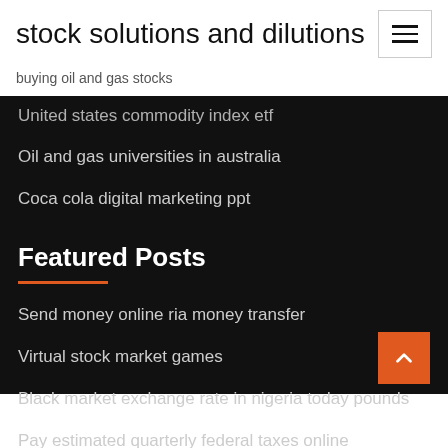stock solutions and dilutions
buying oil and gas stocks
United states commodity index etf
Oil and gas universities in australia
Coca cola digital marketing ppt
Featured Posts
Send money online ria money transfer
Virtual stock market games
Black market exchange rate in nigeria today pounds
Pay estimated quarterly federal taxes online
Upstream oil and gas refining